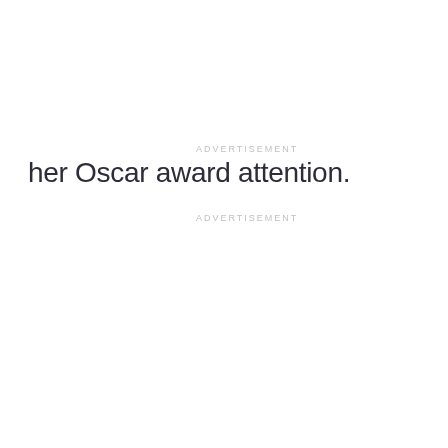ADVERTISEMENT
her Oscar award attention.
ADVERTISEMENT